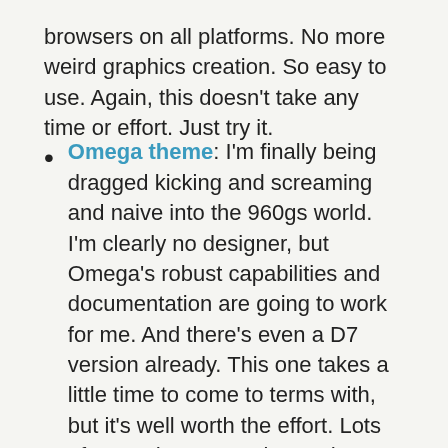browsers on all platforms. No more weird graphics creation. So easy to use. Again, this doesn't take any time or effort. Just try it.
Omega theme: I'm finally being dragged kicking and screaming and naive into the 960gs world. I'm clearly no designer, but Omega's robust capabilities and documentation are going to work for me. And there's even a D7 version already. This one takes a little time to come to terms with, but it's well worth the effort. Lots of great documentation and videos.
rfay's blog
Drupal 7 Render Arrays (and the new Render Example)
Submitted by rfay on Sun, 2010-10-03 22:25
Planet Drupal